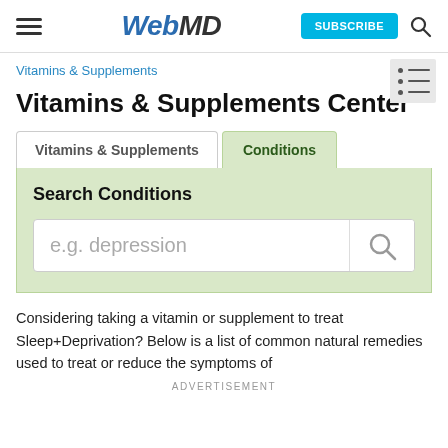WebMD — SUBSCRIBE
Vitamins & Supplements
Vitamins & Supplements Center
Vitamins & Supplements | Conditions
Search Conditions
e.g. depression
Considering taking a vitamin or supplement to treat Sleep+Deprivation? Below is a list of common natural remedies used to treat or reduce the symptoms of
ADVERTISEMENT